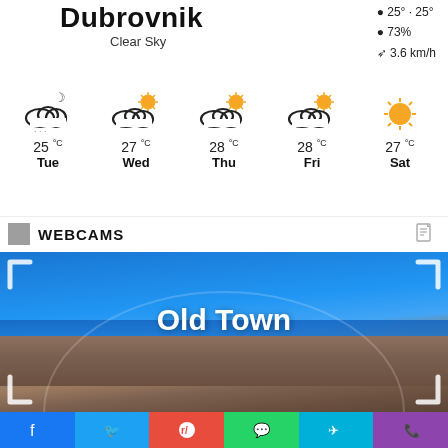Dubrovnik
Clear Sky
25°C · 25°C
73%
3.6 km/h
[Figure (infographic): 5-day weather forecast icons for Dubrovnik: Tue 25°C (night cloud with snow), Wed 27°C (partly cloudy), Thu 28°C (partly cloudy), Fri 28°C (partly cloudy), Sat 27°C (sunny)]
WEBCAMS
[Figure (photo): Webcam still image showing Dubrovnik Old Town with the sea, old city walls and buildings under blue sky. Overlaid white bracket corner frames and large white bold text reading 'Old Town'.]